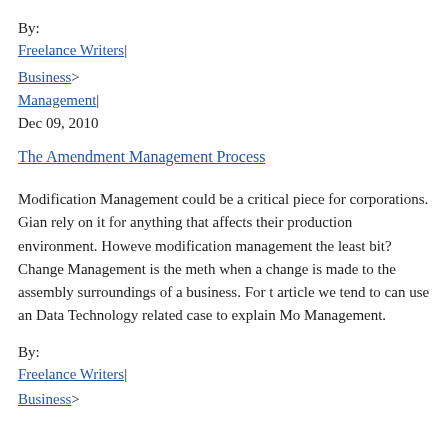By:
Freelance Writers|
Business>
Management|
Dec 09, 2010
The Amendment Management Process
Modification Management could be a critical piece for corporations. Giant companies rely on it for anything that affects their production environment. However, does one know modification management the least bit? Change Management is the method followed when a change is made to the assembly surroundings of a business. For this text, this article we tend to can use an Data Technology related case to explain Modification Management.
By:
Freelance Writers|
Business>